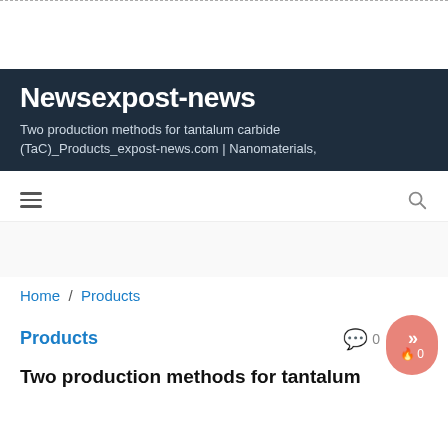Newsexpost-news
Two production methods for tantalum carbide (TaC)_Products_expost-news.com | Nanomaterials,
Home / Products
Products
Two production methods for tantalum